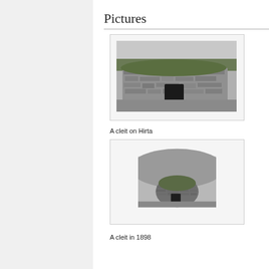Pictures
[Figure (photo): Black and white photograph of a cleit (traditional stone storage structure) on Hirta, showing a low drystone wall building with a turf roof and small entrance opening.]
A cleit on Hirta
[Figure (photo): Black and white photograph from 1898 of a cleit (stone beehive storage hut) on St Kilda, showing a round drystone structure with a doorway, set against a hillside.]
A cleit in 1898